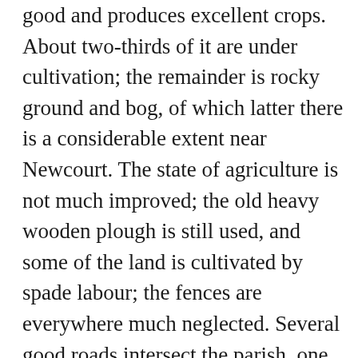good and produces excellent crops. About two-thirds of it are under cultivation; the remainder is rocky ground and bog, of which latter there is a considerable extent near Newcourt. The state of agriculture is not much improved; the old heavy wooden plough is still used, and some of the land is cultivated by spade labour; the fences are everywhere much neglected. Several good roads intersect the parish, one of which is a new line from Skibbereen to Crookhaven, likely to be of considerable advantage. The Ilen is navigable for vessels of 200 tons' burden nearly to its eastern extremity: a quay and storehouses have been constructed at Newcourt, but are entirely neglected,